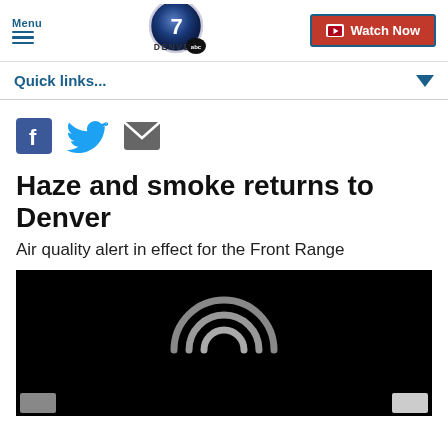Menu | Denver7 ABC | Watch Now
Quick links...
[Figure (screenshot): Social share icons: Facebook (blue F), Twitter (blue bird), Email (gray envelope)]
Haze and smoke returns to Denver
Air quality alert in effect for the Front Range
[Figure (screenshot): Black video player area with WiFi/signal icon overlay and gray footer elements]